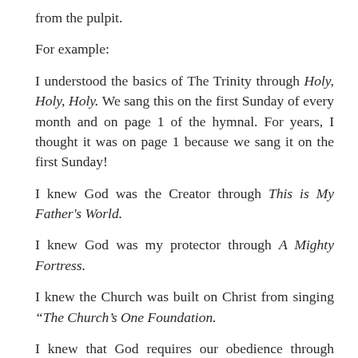from the pulpit.
For example:
I understood the basics of The Trinity through Holy, Holy, Holy. We sang this on the first Sunday of every month and on page 1 of the hymnal. For years, I thought it was on page 1 because we sang it on the first Sunday!
I knew God was the Creator through This is My Father's World.
I knew God was my protector through A Mighty Fortress.
I knew the Church was built on Christ from singing “The Church’s One Foundation.
I knew that God requires our obedience through Trust and Obey, which to this day I probably still sing too loudly.
I knew that Jesus was Lord of all the earth through In Christ